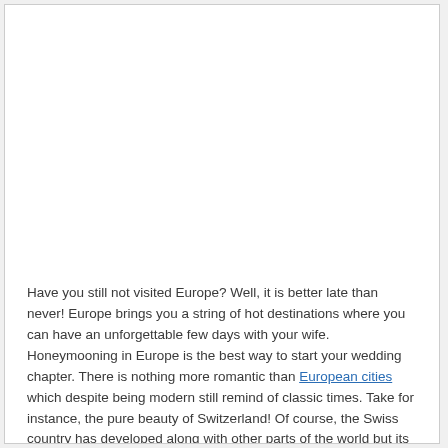[Figure (photo): Large blank/white image placeholder occupying the upper portion of the page]
Have you still not visited Europe? Well, it is better late than never! Europe brings you a string of hot destinations where you can have an unforgettable few days with your wife. Honeymooning in Europe is the best way to start your wedding chapter. There is nothing more romantic than European cities which despite being modern still remind of classic times. Take for instance, the pure beauty of Switzerland! Of course, the Swiss country has developed along with other parts of the world but its personality and outlook have stayed unchanged. It is still that simple and landscaped country with sparse vegetation, low population and plenty of space for the sky to sneak in.